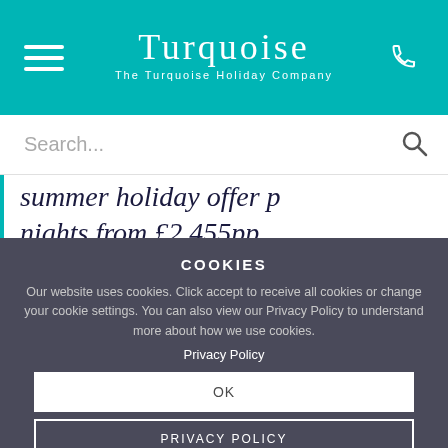Turquoise — The Turquoise Holiday Company
Search...
summer holiday offer p nights from £2,455pp
COOKIES
Our website uses cookies. Click accept to receive all cookies or change your cookie settings. You can also view our Privacy Policy to understand more about how we use cookies.
Privacy Policy
OK
PRIVACY POLICY